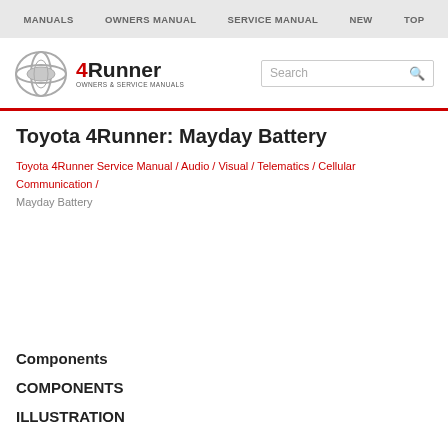MANUALS  OWNERS MANUAL  SERVICE MANUAL  NEW  TOP
[Figure (logo): Toyota 4Runner Owners & Service Manuals logo with Toyota emblem]
Toyota 4Runner: Mayday Battery
Toyota 4Runner Service Manual / Audio / Visual / Telematics / Cellular Communication / Mayday Battery
Components
COMPONENTS
ILLUSTRATION